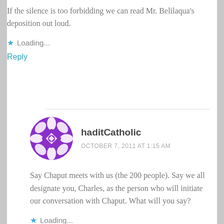If the silence is too forbidding we can read Mr. Belilaqua's deposition out loud.
Loading...
Reply
haditCatholic
OCTOBER 7, 2011 AT 1:15 AM
Say Chaput meets with us (the 200 people). Say we all designate you, Charles, as the person who will initiate our conversation with Chaput. What will you say?
Loading...